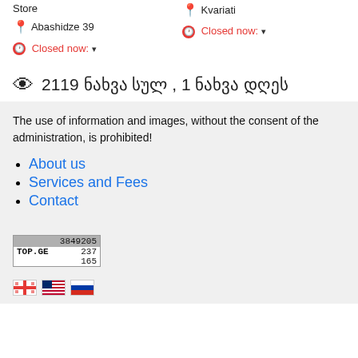Multi-Brand Luxury Concept Store
Abashidze 39
Closed now:
Lounge on the beach
Kvariati
Closed now:
👁 2119 ნახვა სულ , 1 ნახვა დღეს
The use of information and images, without the consent of the administration, is prohibited!
About us
Services and Fees
Contact
[Figure (other): TOP.GE counter badge showing stats: 3849205 total, 237 today, 165 online]
[Figure (other): Three flag icons: Georgian flag, US flag, Russian flag]